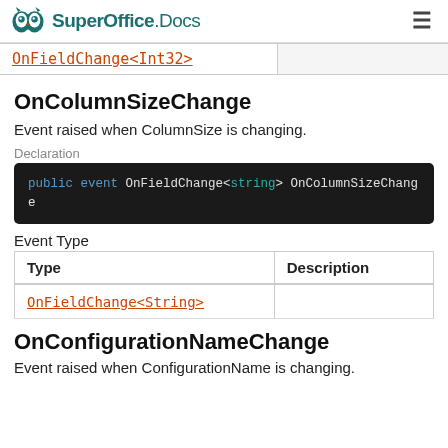SuperOffice Docs
|  |  |
| --- | --- |
| OnFieldChange<Int32> |  |
OnColumnSizeChange
Event raised when ColumnSize is changing.
Declaration
public event OnFieldChange<string> OnColumnSizeChange
Event Type
| Type | Description |
| --- | --- |
| OnFieldChange<String> |  |
OnConfigurationNameChange
Event raised when ConfigurationName is changing.